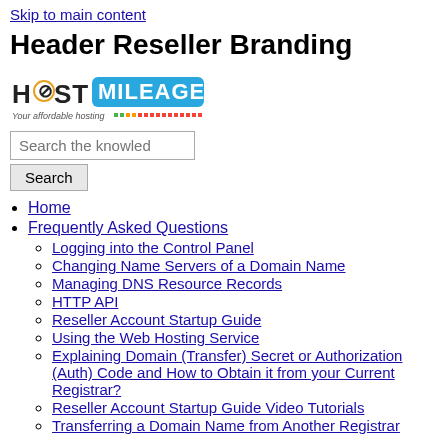Skip to main content
Header Reseller Branding
[Figure (logo): HostMileage logo with tagline 'Your affordable hosting']
Search the knowled [search box] Search [button]
Home
Frequently Asked Questions
Logging into the Control Panel
Changing Name Servers of a Domain Name
Managing DNS Resource Records
HTTP API
Reseller Account Startup Guide
Using the Web Hosting Service
Explaining Domain (Transfer) Secret or Authorization (Auth) Code and How to Obtain it from your Current Registrar?
Reseller Account Startup Guide Video Tutorials
Transferring a Domain Name from Another Registrar